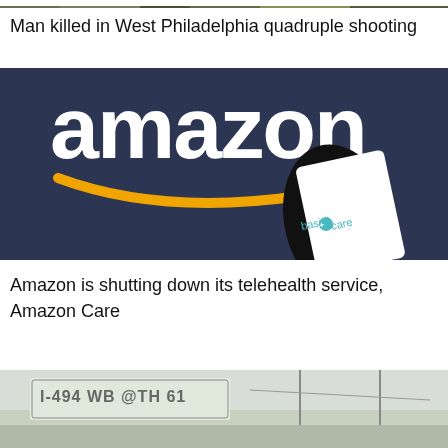[Figure (photo): Top strip of a news article image, partially visible, outdoor scene]
Man killed in West Philadelphia quadruple shooting
[Figure (photo): Amazon logo on dark blue-grey background with a hand holding a smartphone displaying 'basic care' branding]
Amazon is shutting down its telehealth service, Amazon Care
[Figure (photo): Bottom news item image showing highway sign I-494 WB @ TH 61, partially visible]